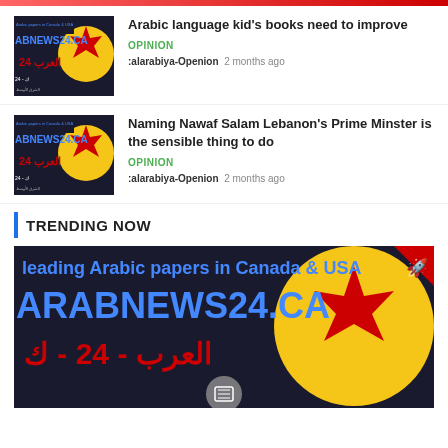[Figure (logo): ABNEWS24.CA Arabic newspaper logo thumbnail]
Arabic language kid's books need to improve
OPINION
:alarabiya-Openion  2 months ago
[Figure (logo): ABNEWS24.CA Arabic newspaper logo thumbnail]
Naming Nawaf Salam Lebanon's Prime Minster is the sensible thing to do
OPINION
:alarabiya-Openion  2 months ago
TRENDING NOW
[Figure (logo): Large ARABNEWS24.CA Arabic newspaper logo banner with rocket icon overlay]